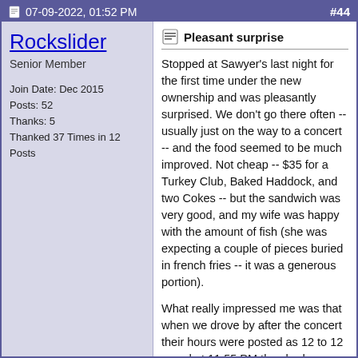07-09-2022, 01:52 PM  #44
Rockslider
Senior Member
Join Date: Dec 2015
Posts: 52
Thanks: 5
Thanked 37 Times in 12 Posts
Pleasant surprise
Stopped at Sawyer's last night for the first time under the new ownership and was pleasantly surprised. We don't go there often -- usually just on the way to a concert -- and the food seemed to be much improved. Not cheap -- $35 for a Turkey Club, Baked Haddock, and two Cokes -- but the sandwich was very good, and my wife was happy with the amount of fish (she was expecting a couple of pieces buried in french fries -- it was a generous portion).
What really impressed me was that when we drove by after the concert their hours were posted as 12 to 12 -- and at 11:55 PM they had a sizeable line for ice cream. It's encouraging to see that they are seizing on the